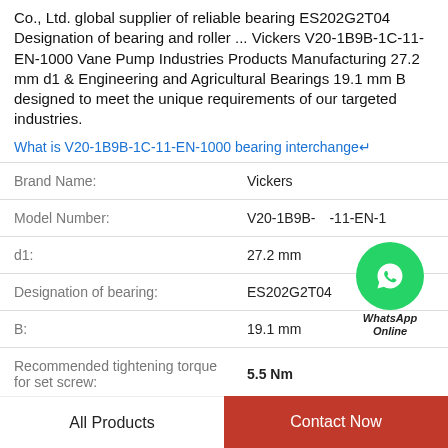Co., Ltd. global supplier of reliable bearing ES202G2T04 Designation of bearing and roller ... Vickers V20-1B9B-1C-11-EN-1000 Vane Pump Industries Products Manufacturing 27.2 mm d1 & Engineering and Agricultural Bearings 19.1 mm B designed to meet the unique requirements of our targeted industries.
What is V20-1B9B-1C-11-EN-1000 bearing interchange↵
| Property | Value |
| --- | --- |
| Brand Name: | Vickers |
| Model Number: | V20-1B9B-1C-11-EN-1000 |
| d1: | 27.2 mm |
| Designation of bearing: | ES202G2T04 |
| B: | 19.1 mm |
| Recommended tightening torque for set screw: | 5.5 Nm |
[Figure (other): WhatsApp Online contact button overlay with green circle phone icon and 'WhatsApp Online' text]
All Products   Contact Now